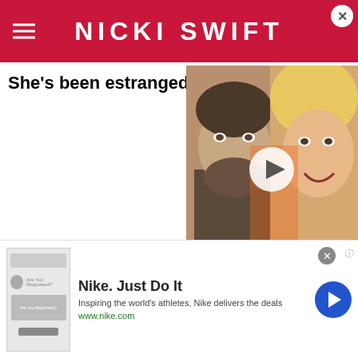NICKI SWIFT
She's been estranged fr
[Figure (photo): Video thumbnail showing a man with a beard and a blonde woman smiling, with a play button overlay. Getty Images credit shown.]
Vince Bucci/Getty Images
Cher's relationship with her other child, Elijah Blue
[Figure (infographic): Nike advertisement banner: Nike. Just Do It. Inspiring the world's athletes, Nike delivers the deals. www.nike.com]